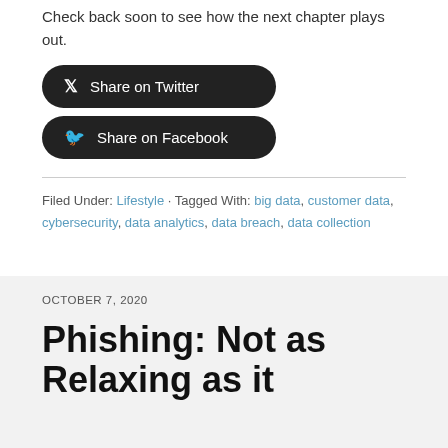Check back soon to see how the next chapter plays out.
Share on Twitter
Share on Facebook
Filed Under: Lifestyle · Tagged With: big data, customer data, cybersecurity, data analytics, data breach, data collection
OCTOBER 7, 2020
Phishing: Not as Relaxing as it